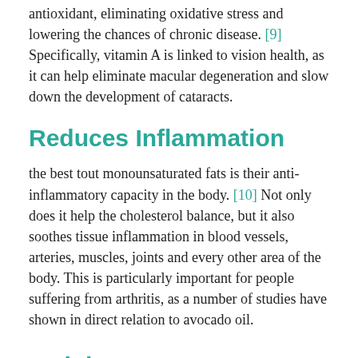antioxidant, eliminating oxidative stress and lowering the chances of chronic disease. [9] Specifically, vitamin A is linked to vision health, as it can help eliminate macular degeneration and slow down the development of cataracts.
Reduces Inflammation
the best tout monounsaturated fats is their anti-inflammatory capacity in the body. [10] Not only does it help the cholesterol balance, but it also soothes tissue inflammation in blood vessels, arteries, muscles, joints and every other area of the body. This is particularly important for people suffering from arthritis, as a number of studies have shown in direct relation to avocado oil.
Weight Loss
By improving the lipid profile within the body, and